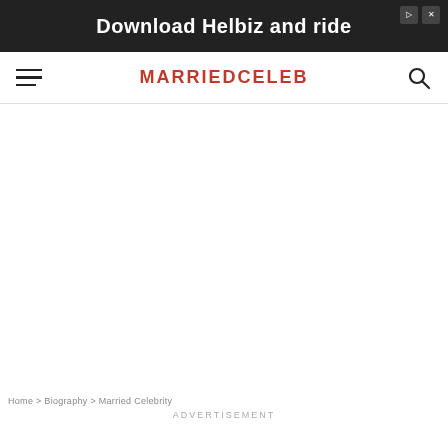[Figure (screenshot): Advertisement banner showing 'Download Helbiz and ride' with a dark background and partial image of bicycle handlebars]
MARRIEDCELEB
Home > Biography > Married Celebrity
ADVERTISEMENT